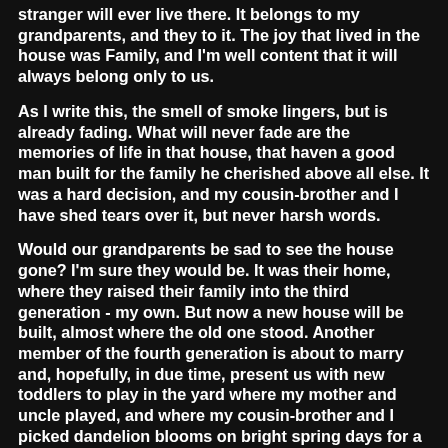stranger will ever live there. It belongs to my grandparents, and they to it. The joy that lived in the house was Family, and I'm well content that it will always belong only to us.
As I write this, the smell of smoke lingers, but is already fading. What will never fade are the memories of life in that house, that haven a good man built for the family he cherished above all else. It was a hard decision, and my cousin-brother and I have shed tears over it, but never harsh words.
Would our grandparents be sad to see the house gone? I'm sure they would be. It was their home, where they raised their family into the third generation - my own. But now a new house will be built, almost where the old one stood. Another member of the fourth generation is about to marry and, hopefully, in due time, present us with new toddlers to play in the yard where my mother and uncle played, and where my cousin-brother and I picked dandelion blooms on bright spring days for a nickel.